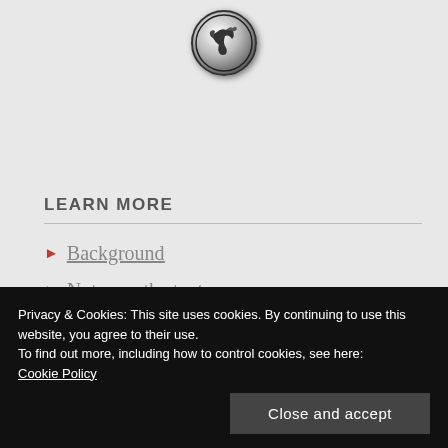[Figure (logo): Circular black and white logo with a horse or animal figure engraving]
LEARN MORE
Background
Notes on the text
Privacy & Cookies: This site uses cookies. By continuing to use this website, you agree to their use.
To find out more, including how to control cookies, see here:
Cookie Policy